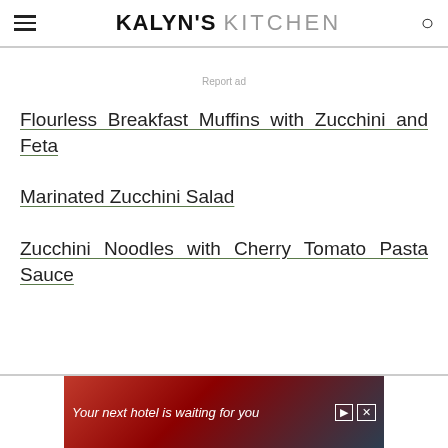KALYN'S KITCHEN
Report ad
Flourless Breakfast Muffins with Zucchini and Feta
Marinated Zucchini Salad
Zucchini Noodles with Cherry Tomato Pasta Sauce
[Figure (screenshot): Advertisement banner: 'Your next hotel is waiting for you' with travel imagery]